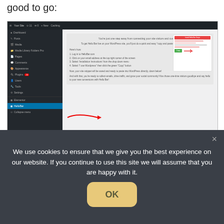good to go:
[Figure (screenshot): WordPress admin dashboard screenshot showing a plugin installation page with instructions to install Hello Bar site snippet. Red arrows point to the paste field and submit button. A small panel on the right shows the snippet copy UI.]
We use cookies to ensure that we give you the best experience on our website. If you continue to use this site we will assume that you are happy with it.
OK